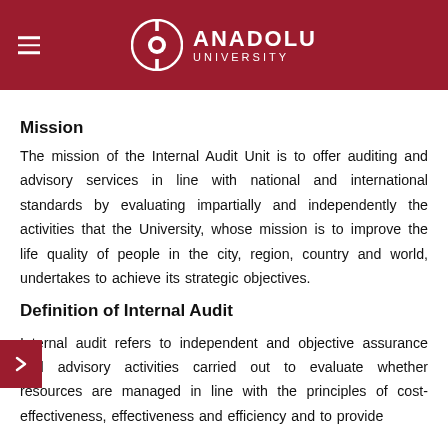ANADOLU UNIVERSITY
Mission
The mission of the Internal Audit Unit is to offer auditing and advisory services in line with national and international standards by evaluating impartially and independently the activities that the University, whose mission is to improve the life quality of people in the city, region, country and world, undertakes to achieve its strategic objectives.
Definition of Internal Audit
Internal audit refers to independent and objective assurance and advisory activities carried out to evaluate whether resources are managed in line with the principles of cost-effectiveness, effectiveness and efficiency and to provide